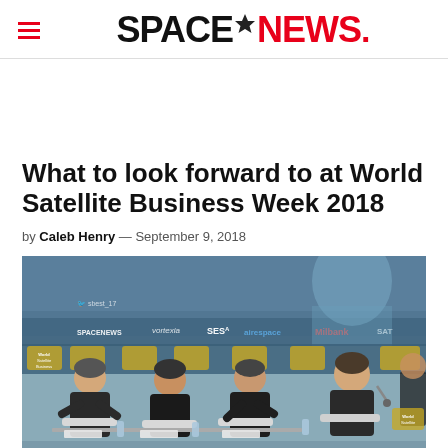SPACENEWS
What to look forward to at World Satellite Business Week 2018
by Caleb Henry — September 9, 2018
[Figure (photo): Panel of four men seated on stage at World Satellite Business Week conference, with sponsor logos visible on backdrop including SpaceNews, SES, Milbank, satellite industry logos.]